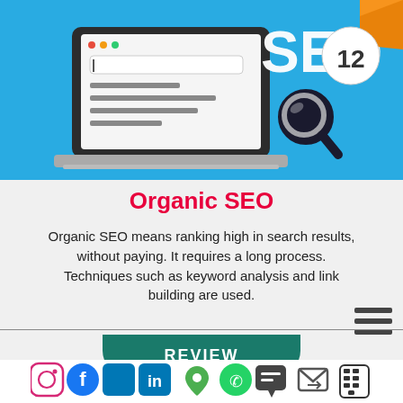[Figure (illustration): SEO illustration: laptop with search bar on left, large 'SEO' text with magnifying glass and number 12 badge on right, orange ribbon accent, on blue background]
Organic SEO
Organic SEO means ranking high in search results, without paying. It requires a long process. Techniques such as keyword analysis and link building are used.
[Figure (other): Hamburger menu icon (three horizontal lines)]
REVIEW
[Figure (other): Social media icons row: Instagram, Facebook, Twitter, LinkedIn, Google Maps pin, WhatsApp, chat bubble, email forward, phone keypad]